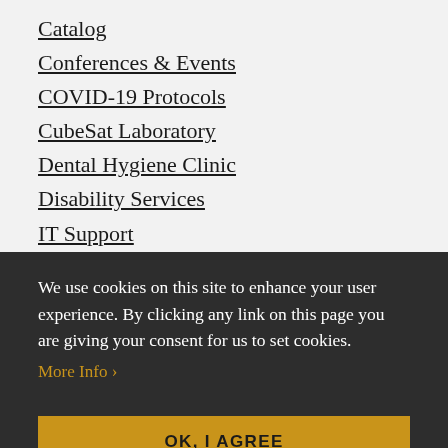Catalog
Conferences & Events
COVID-19 Protocols
CubeSat Laboratory
Dental Hygiene Clinic
Disability Services
IT Support
Library
Locations & Campus Maps
Marketing & Media Resources
We use cookies on this site to enhance your user experience. By clicking any link on this page you are giving your consent for us to set cookies.
More Info ›
OK, I AGREE